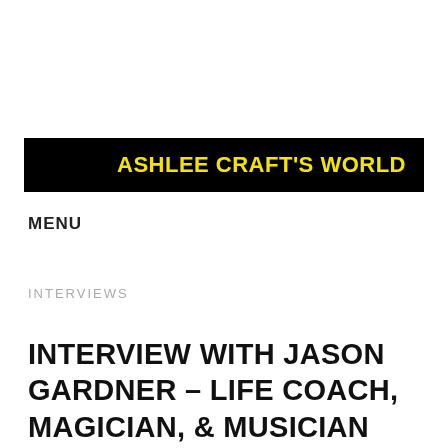ASHLEE CRAFT'S WORLD
MENU
INTERVIEWS
INTERVIEW WITH JASON GARDNER – LIFE COACH, MAGICIAN, & MUSICIAN